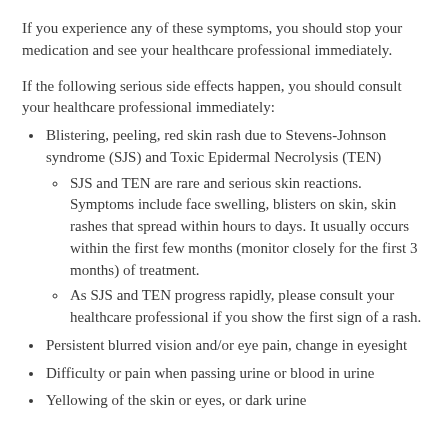If you experience any of these symptoms, you should stop your medication and see your healthcare professional immediately.
If the following serious side effects happen, you should consult your healthcare professional immediately:
Blistering, peeling, red skin rash due to Stevens-Johnson syndrome (SJS) and Toxic Epidermal Necrolysis (TEN)
SJS and TEN are rare and serious skin reactions. Symptoms include face swelling, blisters on skin, skin rashes that spread within hours to days. It usually occurs within the first few months (monitor closely for the first 3 months) of treatment.
As SJS and TEN progress rapidly, please consult your healthcare professional if you show the first sign of a rash.
Persistent blurred vision and/or eye pain, change in eyesight
Difficulty or pain when passing urine or blood in urine
Yellowing of the skin or eyes, or dark urine